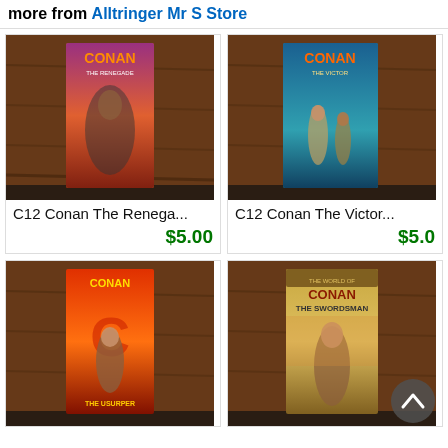more from Alltringer Mr S Store
[Figure (photo): Book cover photo of Conan The Renegade paperback on wooden table surface]
C12 Conan The Renega...
$5.00
[Figure (photo): Book cover photo of Conan The Victor paperback on wooden table surface]
C12 Conan The Victor...
$5.0
[Figure (photo): Book cover photo of Conan The Usurper paperback on wooden table surface]
[Figure (photo): Book cover photo of Conan The Swordsman paperback on wooden table surface with scroll-to-top button overlay]